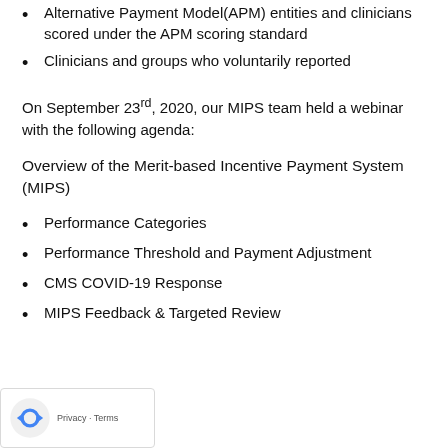Alternative Payment Model(APM) entities and clinicians scored under the APM scoring standard
Clinicians and groups who voluntarily reported
On September 23rd, 2020, our MIPS team held a webinar with the following agenda:
Overview of the Merit-based Incentive Payment System (MIPS)
Performance Categories
Performance Threshold and Payment Adjustment
CMS COVID-19 Response
MIPS Feedback & Targeted Review